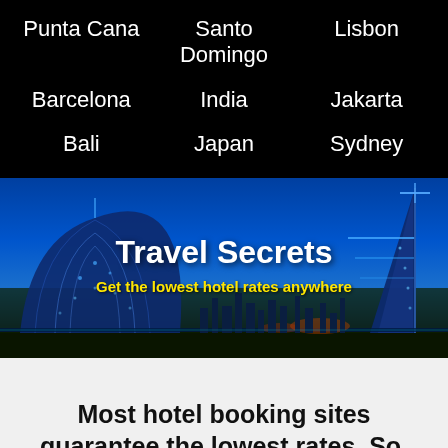Punta Cana
Santo Domingo
Lisbon
Barcelona
India
Jakarta
Bali
Japan
Sydney
[Figure (illustration): Banner with illuminated Dubai skyline (Jumeirah and Burj Al Arab buildings) against a blue night sky, with text 'Travel Secrets' and subtitle 'Get the lowest hotel rates anywhere']
Most hotel booking sites guarantee the lowest rates. So, why aren't their rates always